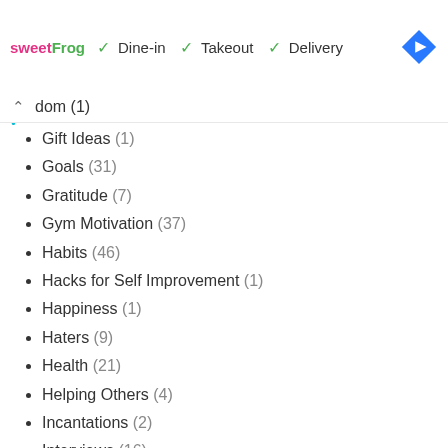[Figure (infographic): sweetFrog ad banner with Dine-in, Takeout, Delivery options and navigation arrow icon]
dom (1)
Gift Ideas (1)
Goals (31)
Gratitude (7)
Gym Motivation (37)
Habits (46)
Hacks for Self Improvement (1)
Happiness (1)
Haters (9)
Health (21)
Helping Others (4)
Incantations (2)
Interviews (16)
Introvert (1)
Kindness & Compassion (6)
Life Challenges (34)
Make Money (12)